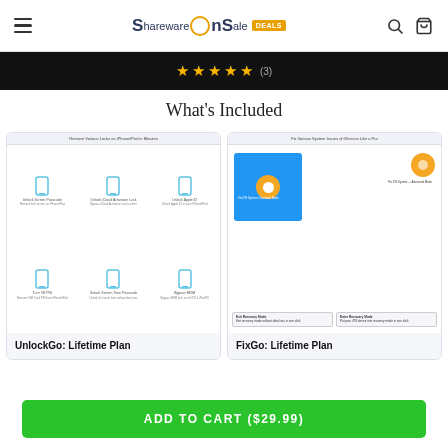SharewareOnSale DEALS
[Figure (screenshot): Star rating display showing 4.5 stars and (3) reviews on dark background]
What's Included
[Figure (screenshot): UnlockGo: Lifetime Plan product card showing iPhone unlock features grid with icons for Screen Passcode, iCloud Activation Lock, Apple ID, Turn Off PIN, Screen Time Passcode, Bypass MDM]
[Figure (screenshot): FixGo: Lifetime Plan product card showing iOS system repair interface with blue panel, gear icon, and recovery mode options]
ADD TO CART ($29.99)